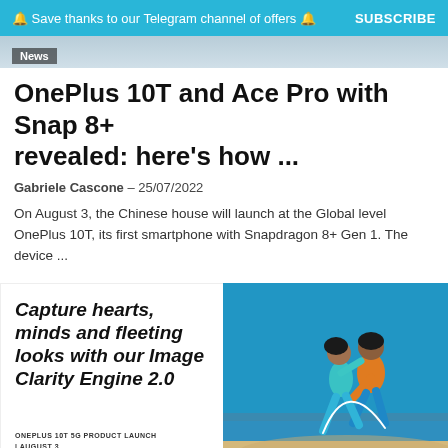🔔 Save thanks to our Telegram channel of offers 🔔  SUBSCRIBE
News
OnePlus 10T and Ace Pro with Snap 8+ revealed: here's how ...
Gabriele Cascone – 25/07/2022
On August 3, the Chinese house will launch at the Global level OnePlus 10T, its first smartphone with Snapdragon 8+ Gen 1. The device ...
[Figure (infographic): OnePlus advertisement card with bold italic text 'Capture hearts, minds and fleeting looks with our Image Clarity Engine 2.0' on the left, and a photo of two people running on a beach on the right. Bottom left shows 'ONEPLUS 10T 5G PRODUCT LAUNCH | AUGUST 3' with a News badge.]
News